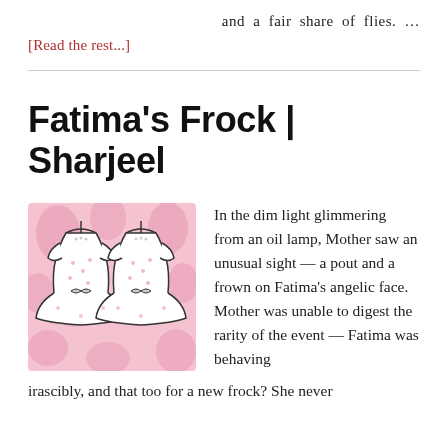and a fair share of flies. …
[Read the rest...]
Fatima's Frock | Sharjeel
[Figure (illustration): Illustration of two children's dresses on hangers with pink floral background and bow details]
In the dim light glimmering from an oil lamp, Mother saw an unusual sight — a pout and a frown on Fatima's angelic face. Mother was unable to digest the rarity of the event — Fatima was behaving irascibly, and that too for a new frock? She never